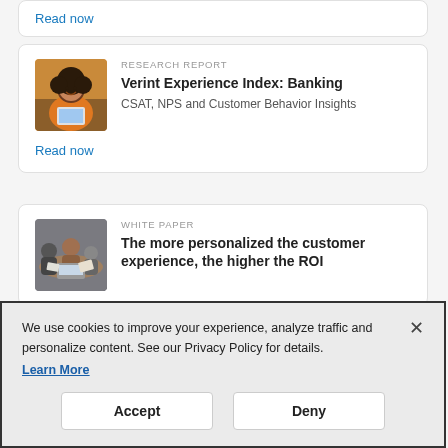Read now
[Figure (photo): Woman in orange sweater smiling, using a tablet, sitting in a casual setting]
RESEARCH REPORT
Verint Experience Index: Banking
CSAT, NPS and Customer Behavior Insights
Read now
[Figure (photo): People working around a table with laptops and papers in a collaborative setting]
WHITE PAPER
The more personalized the customer experience, the higher the ROI
We use cookies to improve your experience, analyze traffic and personalize content. See our Privacy Policy for details.
Learn More
Accept
Deny